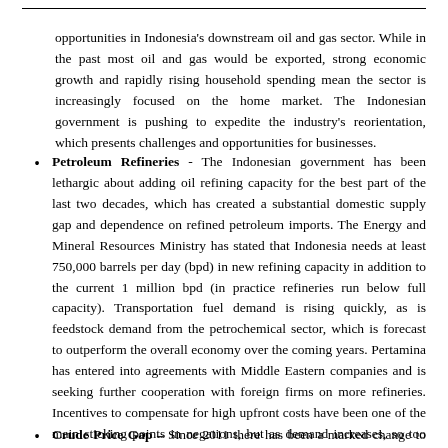opportunities in Indonesia's downstream oil and gas sector. While in the past most oil and gas would be exported, strong economic growth and rapidly rising household spending mean the sector is increasingly focused on the home market. The Indonesian government is pushing to expedite the industry's reorientation, which presents challenges and opportunities for businesses.
Petroleum Refineries - The Indonesian government has been lethargic about adding oil refining capacity for the best part of the last two decades, which has created a substantial domestic supply gap and dependence on refined petroleum imports. The Energy and Mineral Resources Ministry has stated that Indonesia needs at least 750,000 barrels per day (bpd) in new refining capacity in addition to the current 1 million bpd (in practice refineries run below full capacity). Transportation fuel demand is rising quickly, as is feedstock demand from the petrochemical sector, which is forecast to outperform the overall economy over the coming years. Pertamina has entered into agreements with Middle Eastern companies and is seeking further cooperation with foreign firms on more refineries. Incentives to compensate for high upfront costs have been one of the main sticking points in negations, but as demand increases, so too does the pressure on the government to accommodate investors with more attractive arrangements to offset some of the capital risk.
Crude Price Gap – Since 2011 there has been a marked change to the